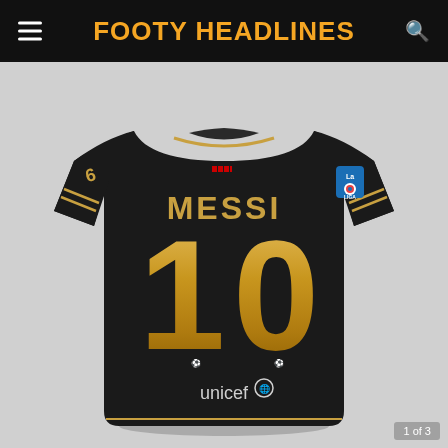FOOTY HEADLINES
[Figure (photo): Back view of a black FC Barcelona away football jersey with 'MESSI 10' printed in gold lettering. The number 10 is large and metallic gold. The shirt also shows the UNICEF sponsor logo at the bottom, a LaLiga patch on the right sleeve, and gold stripe details on the collar and cuffs.]
1 of 3